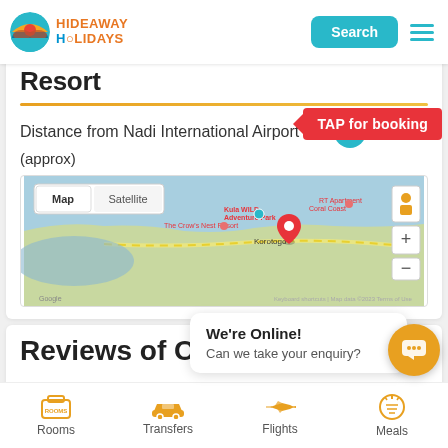[Figure (logo): Hideaway Holidays logo with circular icon and text]
Resort
Distance from Nadi International Airport 770KM (approx)
[Figure (map): Google Map showing Coral Coast area near Korotogo, Fiji with a pin marker]
Reviews of O...es
We're Online! Can we take your enquiry?
Rooms  Transfers  Flights  Meals